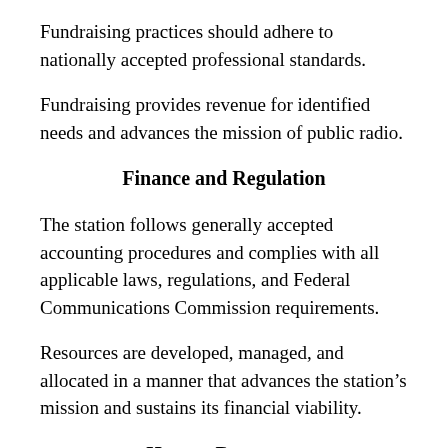Fundraising practices should adhere to nationally accepted professional standards.
Fundraising provides revenue for identified needs and advances the mission of public radio.
Finance and Regulation
The station follows generally accepted accounting procedures and complies with all applicable laws, regulations, and Federal Communications Commission requirements.
Resources are developed, managed, and allocated in a manner that advances the station’s mission and sustains its financial viability.
Human Resources
As mandated by FCC regulations and in accordance with